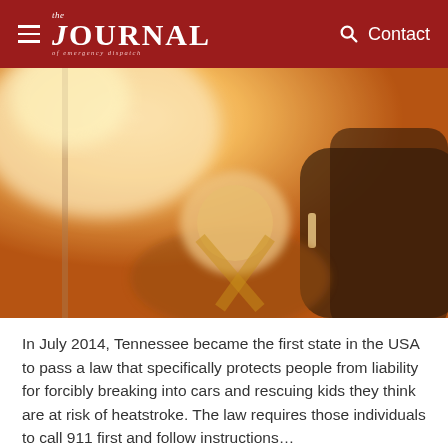the JOURNAL of emergency dispatch | Contact
[Figure (photo): A young child sleeping in a car seat, bathed in warm golden sunlight coming through the car window. The image has a warm, soft bokeh background with the car interior visible.]
In July 2014, Tennessee became the first state in the USA to pass a law that specifically protects people from liability for forcibly breaking into cars and rescuing kids they think are at risk of heatstroke. The law requires those individuals to call 911 first and follow instructions...